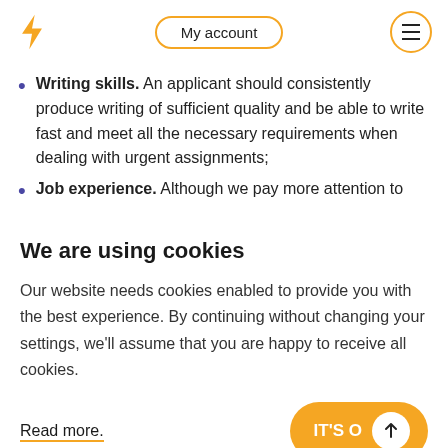My account
Writing skills. An applicant should consistently produce writing of sufficient quality and be able to write fast and meet all the necessary requirements when dealing with urgent assignments;
Job experience. Although we pay more attention to
We are using cookies
Our website needs cookies enabled to provide you with the best experience. By continuing without changing your settings, we'll assume that you are happy to receive all cookies.
Read more.
As you may see, any writer working for FastEssay.com